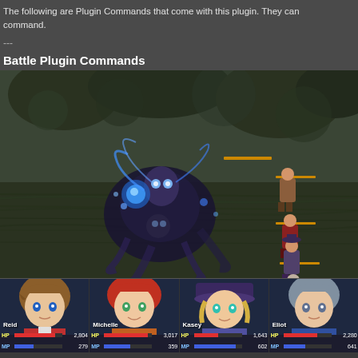The following are Plugin Commands that come with this plugin. They can be used to supplement the various notetag-based mechanics. Note: these Plugin Commands require VisuMZ_1_BattleCore to actually be used as they are battle-related plugin command.
---
Battle Plugin Commands
[Figure (screenshot): RPG Maker MZ battle scene showing a large dark boss enemy with blue magical effects on the left, and four small party member sprites on the right side. The background is a dark dungeon/cave environment with rocky walls. The party members appear to be standing in a line. There are orange HP/status bars visible near the enemy and party members.]
[Figure (screenshot): Party member HUD at the bottom of the battle screen showing four character portraits: Reid (HP 2,804, MP 279), Michelle (HP 3,017, MP 359), Kasey (HP 1,643, MP 602), Eliot (HP 2,280, MP 641). Each portrait shows an anime-style face with HP and MP bars in red and blue respectively.]